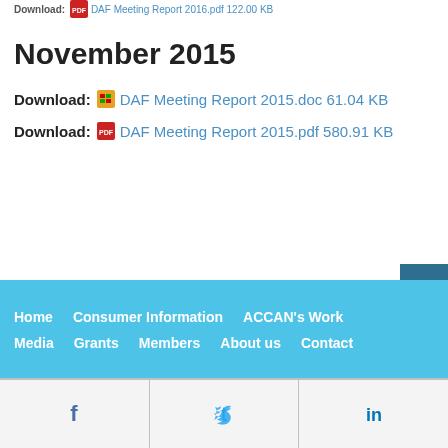Download: DAF Meeting Report 2016.pdf 122.00 KB
November 2015
Download: DAF Meeting Report 2015.doc 61.04 KB
Download: DAF Meeting Report 2015.pdf 580.91 KB
Home  Consumer Information  ACCAN's Work  Media  Grants  Members  About us  Contact